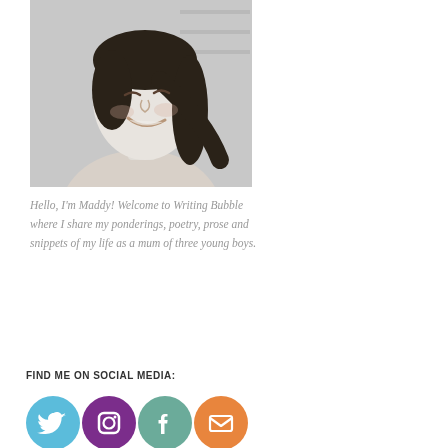[Figure (photo): Black and white photo of a smiling woman with dark hair tilting her head, laughing]
Hello, I'm Maddy! Welcome to Writing Bubble where I share my ponderings, poetry, prose and snippets of my life as a mum of three young boys.
FIND ME ON SOCIAL MEDIA:
[Figure (infographic): Row of four social media icon circles: Twitter (light blue), Instagram (purple), Facebook (teal/green), Email (orange)]